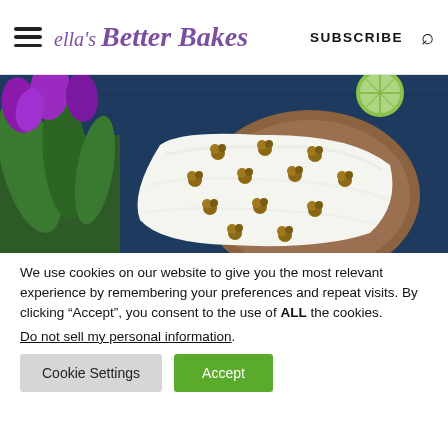Ella's Better Bakes — SUBSCRIBE
[Figure (photo): Overhead view of a frosted cake topped with walnut clusters, surrounded by purple tulips and lime slices on a dark blue wooden surface.]
We use cookies on our website to give you the most relevant experience by remembering your preferences and repeat visits. By clicking “Accept”, you consent to the use of ALL the cookies.
Do not sell my personal information.
Cookie Settings   Accept